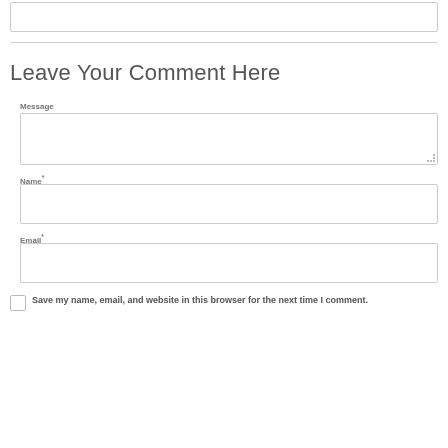[Figure (screenshot): Top partial input box visible at the top of the page]
Leave Your Comment Here
Message
[Figure (screenshot): Message textarea input field]
Name*
[Figure (screenshot): Name text input field]
Email*
[Figure (screenshot): Email text input field]
Save my name, email, and website in this browser for the next time I comment.